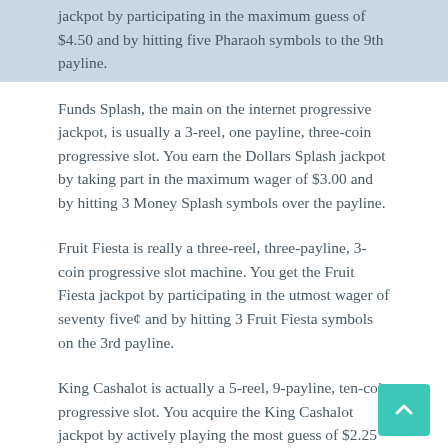jackpot by participating in the maximum guess of $4.50 and by hitting five Pharaoh symbols to the 9th payline.
Funds Splash, the main on the internet progressive jackpot, is usually a 3-reel, one payline, three-coin progressive slot. You earn the Dollars Splash jackpot by taking part in the maximum wager of $3.00 and by hitting 3 Money Splash symbols over the payline.
Fruit Fiesta is really a three-reel, three-payline, 3-coin progressive slot machine. You get the Fruit Fiesta jackpot by participating in the utmost wager of seventy five¢ and by hitting 3 Fruit Fiesta symbols on the 3rd payline.
King Cashalot is actually a 5-reel, 9-payline, ten-coin progressive slot. You acquire the King Cashalot jackpot by actively playing the most guess of $2.25 and by hitting 5 King Cashalot symbols over the ninth